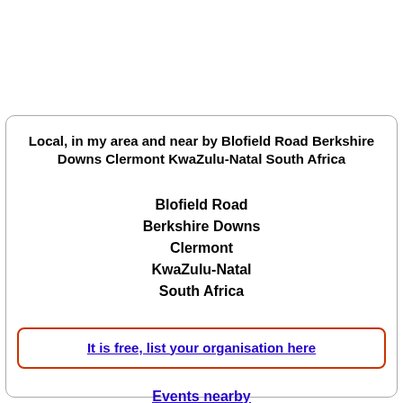Local, in my area and near by Blofield Road Berkshire Downs Clermont KwaZulu-Natal South Africa
Blofield Road
Berkshire Downs
Clermont
KwaZulu-Natal
South Africa
It is free, list your organisation here
Events nearby